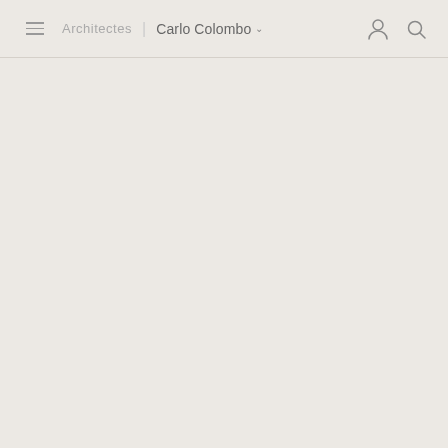≡  Architectes  |  Carlo Colombo ∨